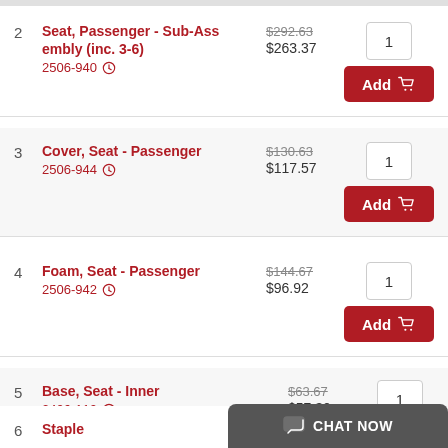2 Seat, Passenger - Sub-Assembly (inc. 3-6) 2506-940 $292.63 $263.37 1 Add
3 Cover, Seat - Passenger 2506-944 $130.63 $117.57 1 Add
4 Foam, Seat - Passenger 2506-942 $144.67 $96.92 1 Add
5 Base, Seat - Inner 2406-110 $63.67 $57.30 1 Add
6 Staple Unavailable